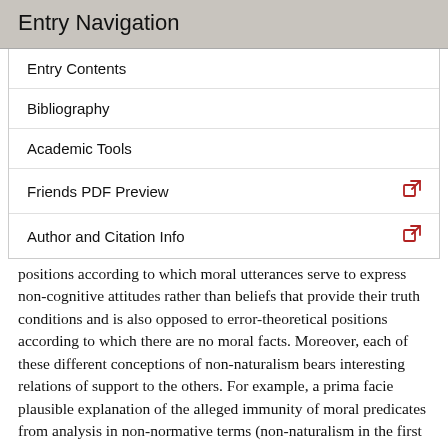Entry Navigation
Entry Contents
Bibliography
Academic Tools
Friends PDF Preview
Author and Citation Info
positions according to which moral utterances serve to express non-cognitive attitudes rather than beliefs that provide their truth conditions and is also opposed to error-theoretical positions according to which there are no moral facts. Moreover, each of these different conceptions of non-naturalism bears interesting relations of support to the others. For example, a prima facie plausible explanation of the alleged immunity of moral predicates from analysis in non-normative terms (non-naturalism in the first sense) would be that moral predicates denote non-natural properties (which entails non-naturalism in the third sense). But...